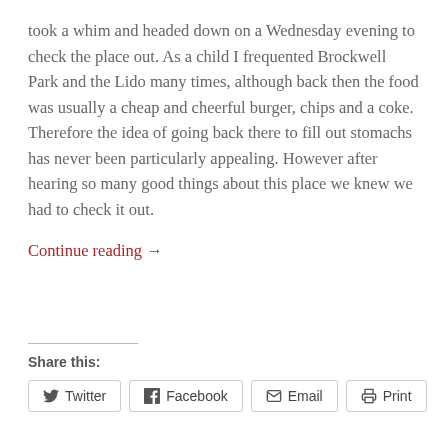took a whim and headed down on a Wednesday evening to check the place out. As a child I frequented Brockwell Park and the Lido many times, although back then the food was usually a cheap and cheerful burger, chips and a coke. Therefore the idea of going back there to fill out stomachs has never been particularly appealing. However after hearing so many good things about this place we knew we had to check it out.
Continue reading →
Share this: